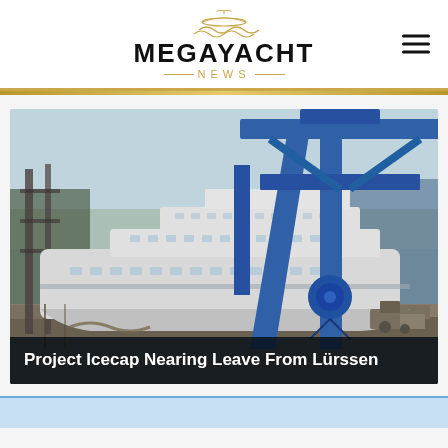MEGAYACHT NEWS
[Figure (photo): A large white superyacht under construction at the Lürssen shipyard, with a large blue gantry crane visible in the foreground and scaffolding in the background.]
Project Icecap Nearing Leave From Lürssen